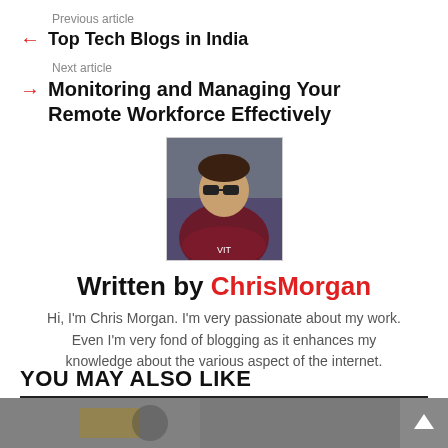Previous article
Top Tech Blogs in India
Next article
Monitoring and Managing Your Remote Workforce Effectively
[Figure (photo): Author photo of ChrisMorgan, a man wearing sunglasses and a maroon hoodie]
Written by ChrisMorgan
Hi, I'm Chris Morgan. I'm very passionate about my work. Even I'm very fond of blogging as it enhances my knowledge about the various aspect of the internet.
YOU MAY ALSO LIKE
[Figure (photo): Partial image strip at the bottom of the page]